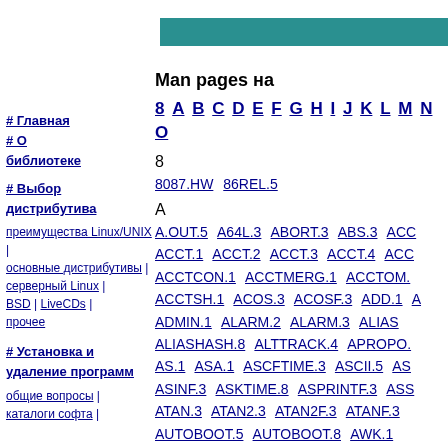[Figure (other): Teal/green horizontal banner bar at the top of the page]
# Главная
# О библиотеке
# Выбор дистрибутива
преимущества Linux/UNIX | основные дистрибутивы | серверный Linux | BSD | LiveCDs | прочее
# Установка и удаление программ
общие вопросы | каталоги софта |
Man pages на
8 A B C D E F G H I J K L M N O
8
8087.HW  86REL.5
A
A.OUT.5  A64L.3  ABORT.3  ABS.3  ACC ACCT.1  ACCT.2  ACCT.3  ACCT.4  ACC ACCTCON.1  ACCTMERG.1  ACCTOM. ACCTSH.1  ACOS.3  ACOSF.3  ADD.1  A ADMIN.1  ALARM.2  ALARM.3  ALIAS ALIASHASH.8  ALTTRACK.4  APROPO. AS.1  ASA.1  ASCFTIME.3  ASCII.5  AS ASINF.3  ASKTIME.8  ASPRINTF.3  ASS ATAN.3  ATAN2.3  ATAN2F.3  ATANF.3 AUTOBOOT.5  AUTOBOOT.8  AWK.1